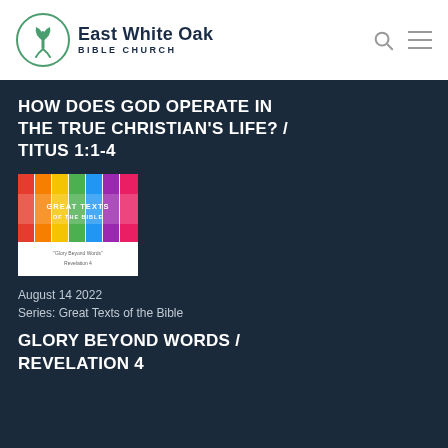East White Oak Bible Church
HOW DOES GOD OPERATE IN THE TRUE CHRISTIAN'S LIFE? / TITUS 1:1-4
[Figure (illustration): Book cover image for 'Great Texts of the Bible' series, showing colorful vertical bars with text 'GREAT TEXTS OF THE BIBLE' and subtitle 'Glory Beyond Words - Revelation 4']
August 14 2022
Series: Great Texts of the Bible
GLORY BEYOND WORDS / REVELATION 4